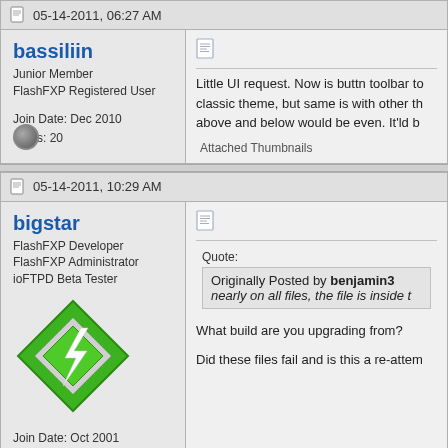05-14-2011, 06:27 AM
bassiliin
Junior Member
FlashFXP Registered User
Join Date: Dec 2010
Posts: 20
Little UI request. Now is buttn toolbar to classic theme, but same is with other th above and below would be even. It'ld b
Attached Thumbnails
05-14-2011, 10:29 AM
bigstar
FlashFXP Developer
FlashFXP Administrator
ioFTPD Beta Tester
Join Date: Oct 2001
Quote:
Originally Posted by benjamin3
nearly on all files, the file is inside t
What build are you upgrading from?
Did these files fail and is this a re-attem